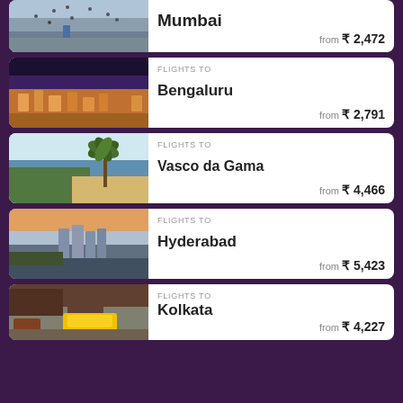[Figure (photo): Partial card showing Mumbai city photo with birds and people, top of page]
Mumbai
from ₹ 2,472
[Figure (photo): Bengaluru aerial cityscape at dusk]
FLIGHTS TO Bengaluru from ₹ 2,791
[Figure (photo): Vasco da Gama beach with palm tree and sea view]
FLIGHTS TO Vasco da Gama from ₹ 4,466
[Figure (photo): Hyderabad city skyline with modern buildings]
FLIGHTS TO Hyderabad from ₹ 5,423
[Figure (photo): Kolkata street with yellow taxi]
FLIGHTS TO Kolkata from ₹ 4,227